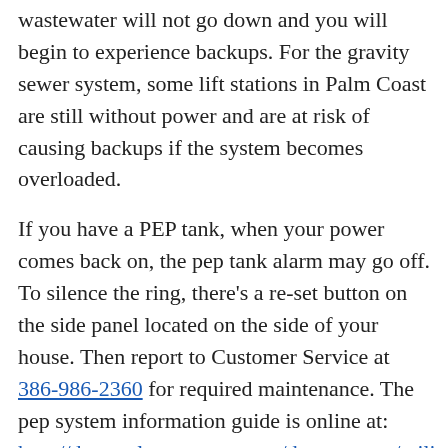wastewater will not go down and you will begin to experience backups. For the gravity sewer system, some lift stations in Palm Coast are still without power and are at risk of causing backups if the system becomes overloaded.
If you have a PEP tank, when your power comes back on, the pep tank alarm may go off. To silence the ring, there's a re-set button on the side panel located on the side of your house. Then report to Customer Service at 386-986-2360 for required maintenance. The pep system information guide is online at: http://docs.palmcoastgov.com/departments/utility/Pep%
The City of Palm Coast is working around the